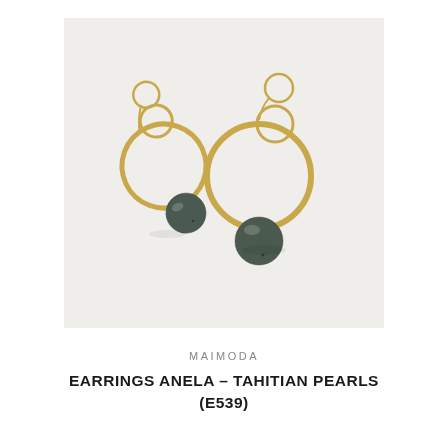[Figure (photo): Product photo of gold hoop earrings with Tahitian dark green-grey pearl drops. Two earrings photographed on a light grey/white background, showing gold hammered circular hoops connected to smaller rings with lever-back clasps, and large round baroque dark pearls hanging below.]
MAIMODA
EARRINGS ANELA - TAHITIAN PEARLS (E539)